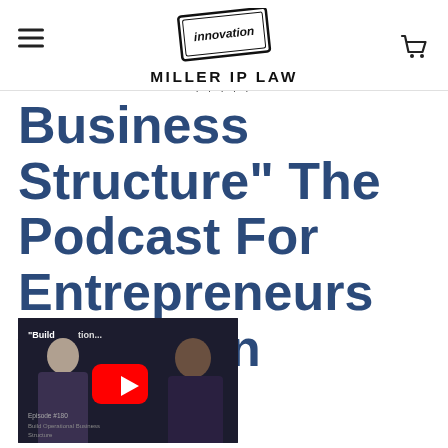Miller IP Law
Business Structure" The Podcast For Entrepreneurs w/ Lauren Colson
[Figure (screenshot): YouTube video thumbnail showing two people with title 'Build Operational Business Structure...' Episode #180, Build Operational Business Structure with YouTube play button overlay]